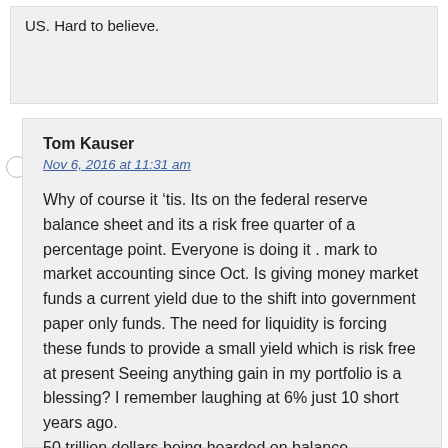US. Hard to believe.
Tom Kauser
Nov 6, 2016 at 11:31 am
Why of course it ‘tis. Its on the federal reserve balance sheet and its a risk free quarter of a percentage point. Everyone is doing it . mark to market accounting since Oct. Is giving money market funds a current yield due to the shift into government paper only funds. The need for liquidity is forcing these funds to provide a small yield which is risk free at present Seeing anything gain in my portfolio is a blessing? I remember laughing at 6% just 10 short years ago.
50 trillion dollars being hoarded on balance